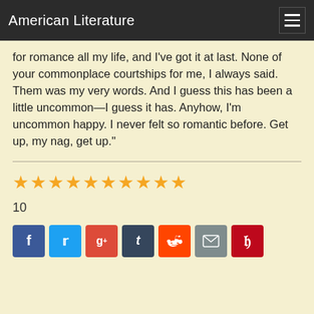American Literature
for romance all my life, and I've got it at last. None of your commonplace courtships for me, I always said. Them was my very words. And I guess this has been a little uncommon—I guess it has. Anyhow, I'm uncommon happy. I never felt so romantic before. Get up, my nag, get up."
[Figure (other): 10 gold star rating icons]
10
[Figure (other): Social sharing buttons: Facebook, Twitter, Google+, Tumblr, Reddit, Email, Pinterest]